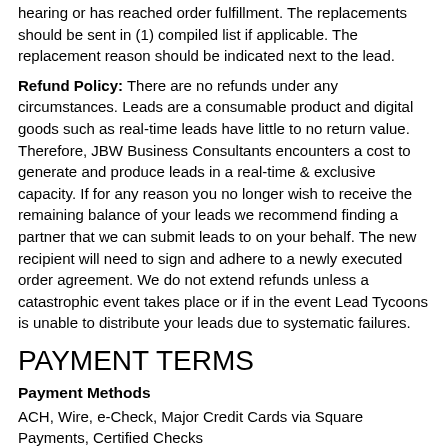hearing or has reached order fulfillment. The replacements should be sent in (1) compiled list if applicable. The replacement reason should be indicated next to the lead.
Refund Policy: There are no refunds under any circumstances. Leads are a consumable product and digital goods such as real-time leads have little to no return value. Therefore, JBW Business Consultants encounters a cost to generate and produce leads in a real-time & exclusive capacity. If for any reason you no longer wish to receive the remaining balance of your leads we recommend finding a partner that we can submit leads to on your behalf. The new recipient will need to sign and adhere to a newly executed order agreement. We do not extend refunds unless a catastrophic event takes place or if in the event Lead Tycoons is unable to distribute your leads due to systematic failures.
PAYMENT TERMS
Payment Methods
ACH, Wire, e-Check, Major Credit Cards via Square Payments, Certified Checks
JBW Business Consultants Account Information will be provided on Orders that Exceed $1,000.00